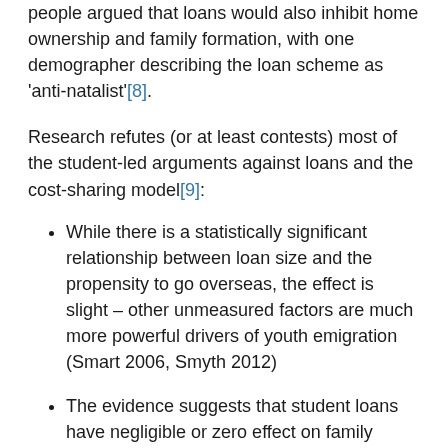people argued that loans would also inhibit home ownership and family formation, with one demographer describing the loan scheme as 'anti-natalist'[8].
Research refutes (or at least contests) most of the student-led arguments against loans and the cost-sharing model[9]:
While there is a statistically significant relationship between loan size and the propensity to go overseas, the effect is slight – other unmeasured factors are much more powerful drivers of youth emigration (Smart 2006, Smyth 2012)
The evidence suggests that student loans have negligible or zero effect on family formation or home ownership (Scobie, Gibson and Le, 2005).
There is no evidence of socio-economic bias in the